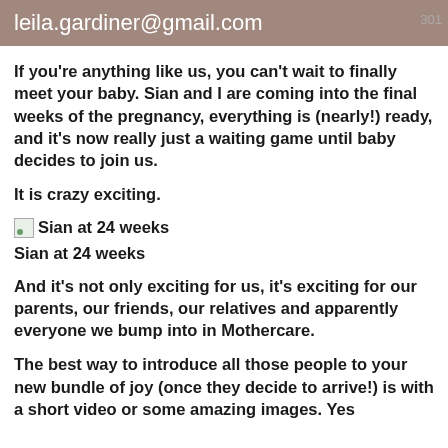leila.gardiner@gmail.com
If you're anything like us, you can't wait to finally meet your baby. Sian and I are coming into the final weeks of the pregnancy, everything is (nearly!) ready, and it's now really just a waiting game until baby decides to join us.
It is crazy exciting.
[Figure (photo): Broken image placeholder with label 'Sian at 24 weeks']
Sian at 24 weeks
And it's not only exciting for us, it's exciting for our parents, our friends, our relatives and apparently everyone we bump into in Mothercare.
The best way to introduce all those people to your new bundle of joy (once they decide to arrive!) is with a short video or some amazing images. Yes